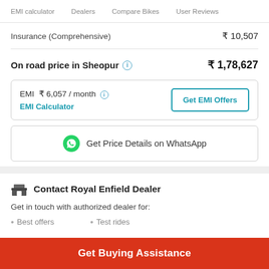EMI calculator   Dealers   Compare Bikes   User Reviews
Insurance (Comprehensive)   ₹ 10,507
On road price in Sheopur   ₹ 1,78,627
EMI ₹ 6,057 / month   EMI Calculator   Get EMI Offers
Get Price Details on WhatsApp
Contact Royal Enfield Dealer
Get in touch with authorized dealer for:
Best offers
Test rides
Get Buying Assistance